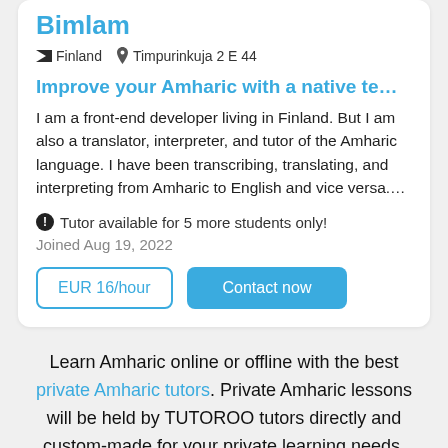Bimlam
Finland   Timpurinkuja 2 E 44
Improve your Amharic with a native te…
I am a front-end developer living in Finland. But I am also a translator, interpreter, and tutor of the Amharic language. I have been transcribing, translating, and interpreting from Amharic to English and vice versa....
Tutor available for 5 more students only!
Joined Aug 19, 2022
EUR 16/hour   Contact now
Learn Amharic online or offline with the best private Amharic tutors. Private Amharic lessons will be held by TUTOROO tutors directly and custom-made for your private learning needs. Learn Amharic effectively with the help of a native speaking Amharic